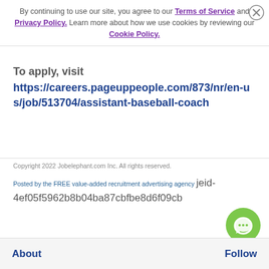By continuing to use our site, you agree to our Terms of Service and Privacy Policy. Learn more about how we use cookies by reviewing our Cookie Policy.
To apply, visit https://careers.pageuppeople.com/873/nr/en-us/job/513704/assistant-baseball-coach
Copyright 2022 Jobelephant.com Inc. All rights reserved.
Posted by the FREE value-added recruitment advertising agency jeid-4ef05f5962b8b04ba87cbfbe8d6f09cb
About   Follow